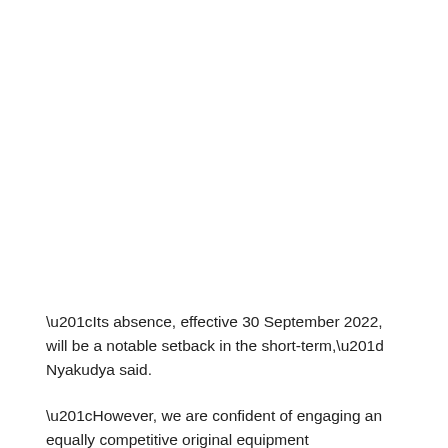“Its absence, effective 30 September 2022, will be a notable setback in the short-term,” Nyakudya said.
“However, we are confident of engaging an equally competitive original equipment manufacturer (OEM) in the